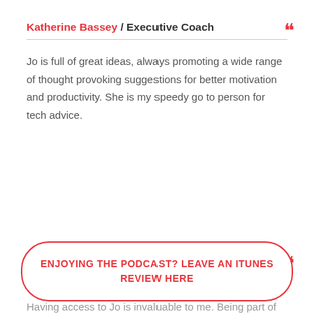Katherine Bassey / Executive Coach
Jo is full of great ideas, always promoting a wide range of thought provoking suggestions for better motivation and productivity. She is my speedy go to person for tech advice.
Jackie Fletcher / Health Coach
Having access to Jo is invaluable to me. Being part of the
ENJOYING THE PODCAST? LEAVE AN ITUNES REVIEW HERE